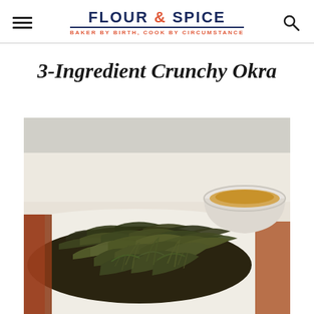FLOUR & SPICE — BAKER BY BIRTH, COOK BY CIRCUMSTANCE
3-Ingredient Crunchy Okra
[Figure (photo): A plate piled high with crispy fried okra (dark green/brown crunchy strips), with a white bowl of orange/yellow dipping sauce visible in the upper right background. The food is on a white surface with warm wooden tones.]